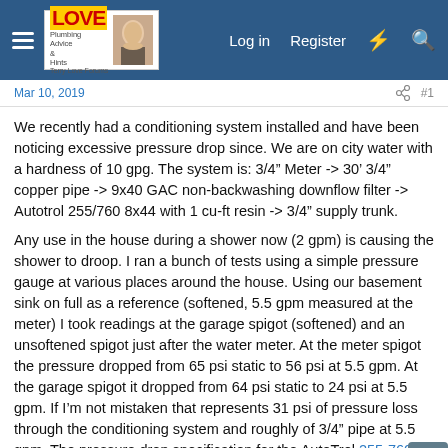Terry Love Plumbing Forums — Log in | Register
Mar 10, 2019
We recently had a conditioning system installed and have been noticing excessive pressure drop since. We are on city water with a hardness of 10 gpg. The system is: 3/4" Meter -> 30' 3/4" copper pipe -> 9x40 GAC non-backwashing downflow filter -> Autotrol 255/760 8x44 with 1 cu-ft resin -> 3/4" supply trunk.
Any use in the house during a shower now (2 gpm) is causing the shower to droop. I ran a bunch of tests using a simple pressure gauge at various places around the house. Using our basement sink on full as a reference (softened, 5.5 gpm measured at the meter) I took readings at the garage spigot (softened) and an unsoftened spigot just after the water meter. At the meter spigot the pressure dropped from 65 psi static to 56 psi at 5.5 gpm. At the garage spigot it dropped from 64 psi static to 24 psi at 5.5 gpm. If I'm not mistaken that represents 31 psi of pressure loss through the conditioning system and roughly of 3/4" pipe at 5.5 gpm. The pressure drop specification for the AutoTrol 255-760-075-844 is 8 psi at 6 gpm. Our system is